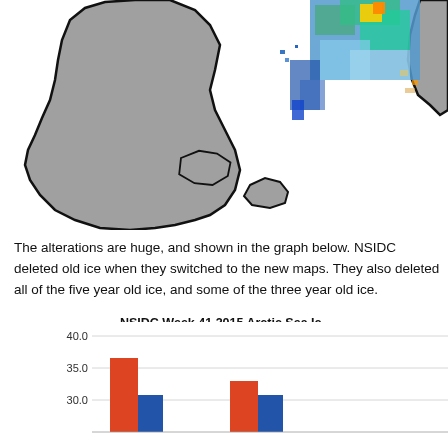[Figure (map): Partial map of Greenland and surrounding Arctic region showing sea ice concentration in false color (blue, green, yellow, orange). Land masses shown in gray with black outlines. Sea ice shown as colored pixels in the upper right. This appears to be an NSIDC satellite map of Arctic sea ice.]
The alterations are huge, and shown in the graph below. NSIDC deleted old ice when they switched to the new maps. They also deleted all of the five year old ice, and some of the three year old ice.
[Figure (bar-chart): NSIDC Week 41 2015 Arctic Sea Ic...]